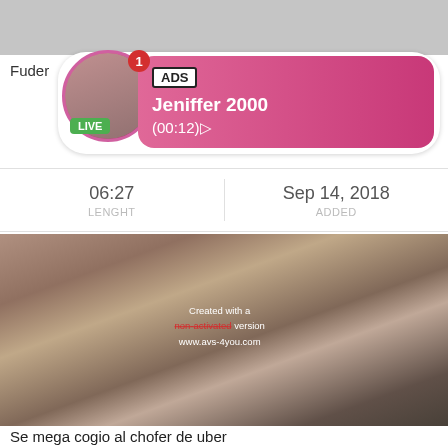[Figure (screenshot): Top gray image bar placeholder]
Fuder
[Figure (screenshot): Advertisement bubble with profile photo, LIVE badge, notification badge, ADS tag, name Jeniffer 2000, time (00:12)]
| 06:27 | Sep 14, 2018 |
| LENGHT | ADDED |
[Figure (photo): Video thumbnail - explicit content with watermark text: Created with a non-activated version www.avs-4you.com]
Se mega cogio al chofer de uber